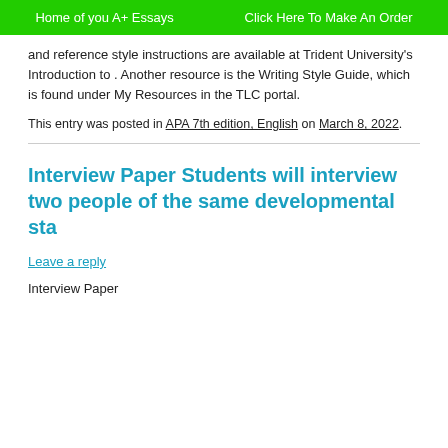Home of you A+ Essays    Click Here To Make An Order
and reference style instructions are available at Trident University's Introduction to . Another resource is the Writing Style Guide, which is found under My Resources in the TLC portal.
This entry was posted in APA 7th edition, English on March 8, 2022.
Interview Paper Students will interview two people of the same developmental sta
Leave a reply
Interview Paper